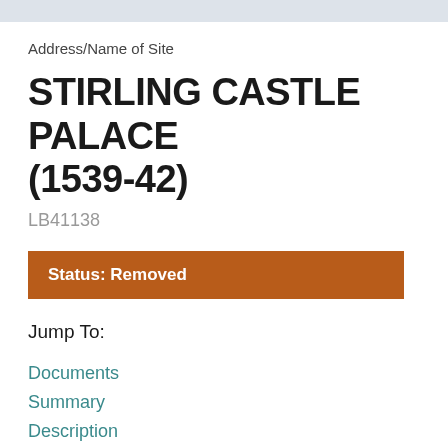Address/Name of Site
STIRLING CASTLE PALACE (1539-42)
LB41138
Status: Removed
Jump To:
Documents
Summary
Description